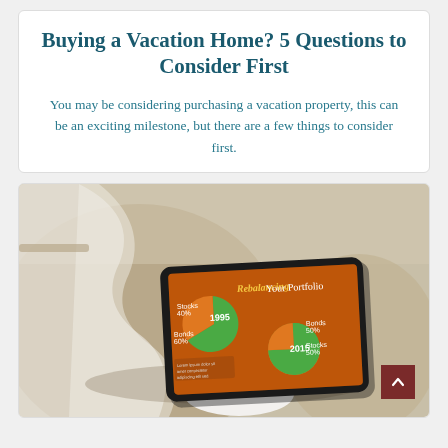Buying a Vacation Home? 5 Questions to Consider First
You may be considering purchasing a vacation property, this can be an exciting milestone, but there are a few things to consider first.
[Figure (photo): Photo of a tablet device resting against a travel bag, displaying an infographic titled 'Rebalancing Your Portfolio' showing two pie charts: one labeled '1995' with Stocks 40% and Bonds 60%, and one labeled '2015' with Bonds 50% and Stocks 50%. The tablet is being held by a white ceramic hand sculpture.]